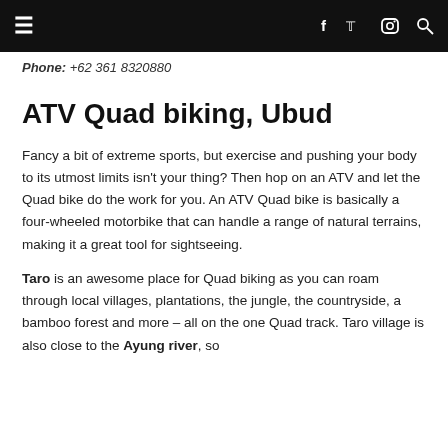≡  [navigation bar with social icons: f, twitter, instagram, search]
Phone: +62 361 8320880
ATV Quad biking, Ubud
Fancy a bit of extreme sports, but exercise and pushing your body to its utmost limits isn't your thing? Then hop on an ATV and let the Quad bike do the work for you. An ATV Quad bike is basically a four-wheeled motorbike that can handle a range of natural terrains, making it a great tool for sightseeing.
Taro is an awesome place for Quad biking as you can roam through local villages, plantations, the jungle, the countryside, a bamboo forest and more – all on the one Quad track. Taro village is also close to the Ayung river, so